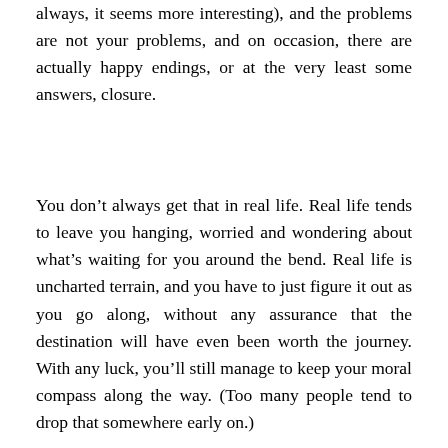always, it seems more interesting), and the problems are not your problems, and on occasion, there are actually happy endings, or at the very least some answers, closure.
You don't always get that in real life. Real life tends to leave you hanging, worried and wondering about what's waiting for you around the bend. Real life is uncharted terrain, and you have to just figure it out as you go along, without any assurance that the destination will have even been worth the journey. With any luck, you'll still manage to keep your moral compass along the way. (Too many people tend to drop that somewhere early on.)